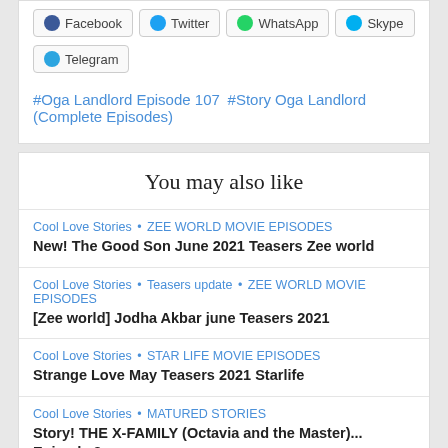Facebook Twitter WhatsApp Skype Telegram (share buttons)
#Oga Landlord Episode 107  #Story Oga Landlord (Complete Episodes)
You may also like
Cool Love Stories • ZEE WORLD MOVIE EPISODES
New! The Good Son June 2021 Teasers Zee world
Cool Love Stories • Teasers update • ZEE WORLD MOVIE EPISODES
[Zee world] Jodha Akbar june Teasers 2021
Cool Love Stories • STAR LIFE MOVIE EPISODES
Strange Love May Teasers 2021 Starlife
Cool Love Stories • MATURED STORIES
Story! THE X-FAMILY (Octavia and the Master)... Episode 2